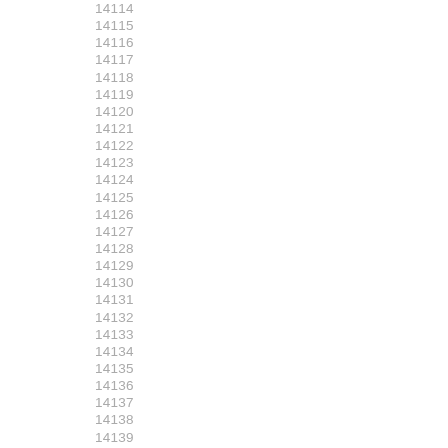14114
14115
14116
14117
14118
14119
14120
14121
14122
14123
14124
14125
14126
14127
14128
14129
14130
14131
14132
14133
14134
14135
14136
14137
14138
14139
14140
14141
14142
14143